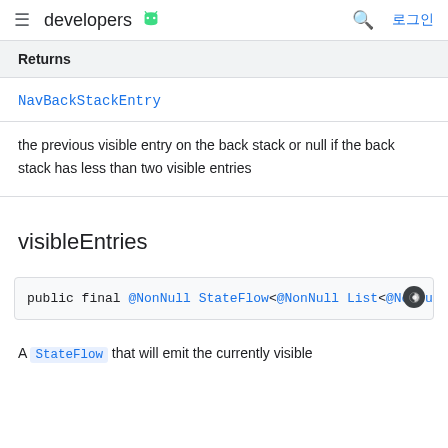developers (android logo) 로그인
Returns
NavBackStackEntry
the previous visible entry on the back stack or null if the back stack has less than two visible entries
visibleEntries
public final @NonNull StateFlow<@NonNull List<@NonNu
A StateFlow that will emit the currently visible